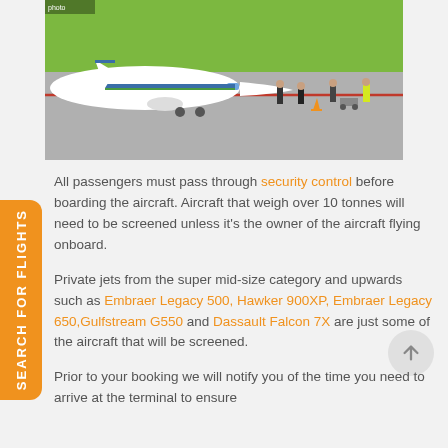[Figure (photo): Aerial view of a private jet on airport tarmac with several people walking nearby, including a person in a high-visibility yellow jacket. Green grass visible in the background.]
All passengers must pass through security control before boarding the aircraft. Aircraft that weigh over 10 tonnes will need to be screened unless it's the owner of the aircraft flying onboard.
Private jets from the super mid-size category and upwards such as Embraer Legacy 500, Hawker 900XP, Embraer Legacy 650, Gulfstream G550 and Dassault Falcon 7X are just some of the aircraft that will be screened.
Prior to your booking we will notify you of the time you need to arrive at the terminal to ensure